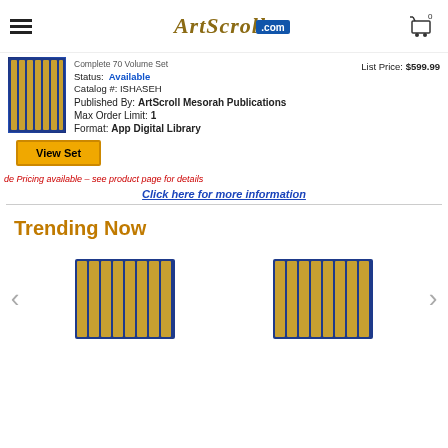ArtScroll.com
Complete 70 Volume Set
Status: Available
Catalog #: ISHASEH
List Price: $599.99
Published By: ArtScroll Mesorah Publications
Max Order Limit: 1
Format: App Digital Library
View Set
de Pricing available – see product page for details
Click here for more information
Trending Now
[Figure (photo): Two sets of blue hardcover ArtScroll books shown in carousel]
[Figure (photo): Product image of blue ArtScroll book set]